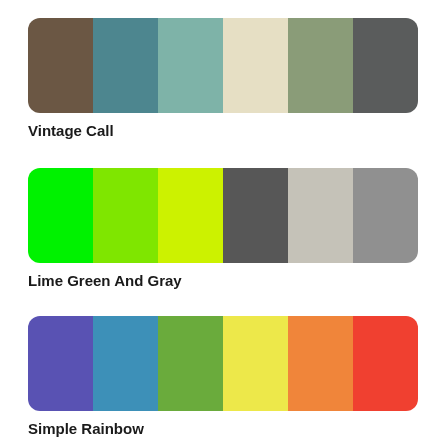[Figure (infographic): Color palette named 'Vintage Call' with six swatches: dark brown, teal blue, muted teal, light beige, sage green, dark gray]
Vintage Call
[Figure (infographic): Color palette named 'Lime Green And Gray' with six swatches: bright green, lime green, yellow-green, dark gray, light gray, medium gray]
Lime Green And Gray
[Figure (infographic): Color palette named 'Simple Rainbow' with six swatches: purple, blue, green, yellow, orange, red]
Simple Rainbow